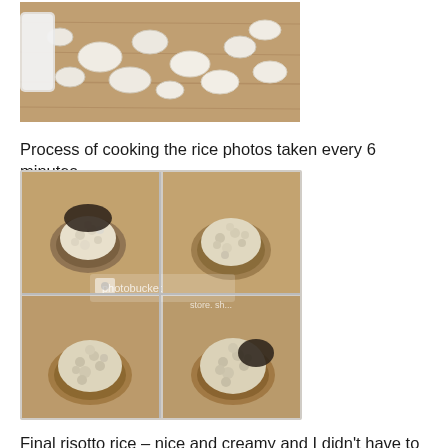[Figure (photo): Top-down photo of white garlic cloves on a wooden surface]
Process of cooking the rice photos taken every 6 minutes.
[Figure (photo): Four-panel grid of photos showing risotto rice cooking process on a wooden spoon, taken every 6 minutes. The rice progressively becomes creamier across the four images. Photobucket watermark visible.]
Final risotto rice – nice and creamy and I didn't have to add cheese or cream, since the stock and rice were the of the highest quality.
[Figure (photo): Close-up photo of final creamy risotto rice in a bowl with green herb garnish]